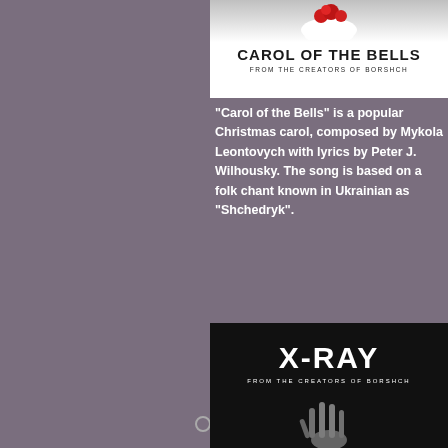[Figure (illustration): Carol of the Bells book/album cover with red holly berries at top, white background, bold title text 'CAROL OF THE BELLS' and subtitle 'FROM THE CREATORS OF BORSHCH']
“Carol of the Bells” is a popular Christmas carol, composed by Mykola Leontovych with lyrics by Peter J. Wilhousky. The song is based on a folk chant known in Ukrainian as “Shchedryk”.
[Figure (illustration): X-Ray book/album cover with black background, bold white title 'X-RAY', subtitle 'FROM THE CREATORS OF BORSHCH', and an X-ray image of a hand at the bottom]